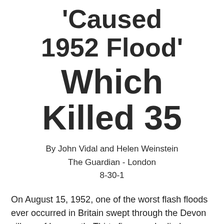'Caused 1952 Flood' Which Killed 35
By John Vidal and Helen Weinstein
The Guardian - London
8-30-1
On August 15, 1952, one of the worst flash floods ever occurred in Britain swept through the Devon village of Lynmouth. Thirty five people died as a torrent of 90m water and thousands of tons of rock poured off satu